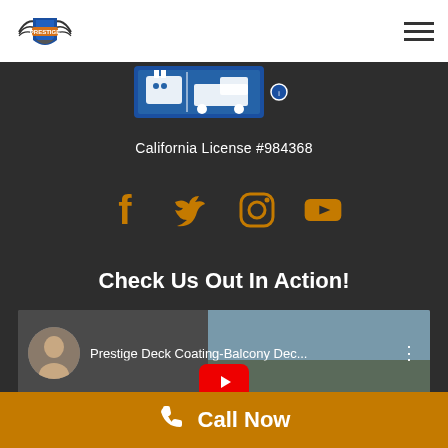[Figure (logo): Prestige company logo with shield and wings]
[Figure (illustration): Hamburger menu icon with three horizontal lines]
[Figure (illustration): California contractor license plate icon with truck]
California License #984368
[Figure (infographic): Social media icons: Facebook, Twitter, Instagram, YouTube in orange/gold color]
Check Us Out In Action!
[Figure (screenshot): YouTube video thumbnail for Prestige Deck Coating-Balcony Dec... with user avatar and play button]
Call Now